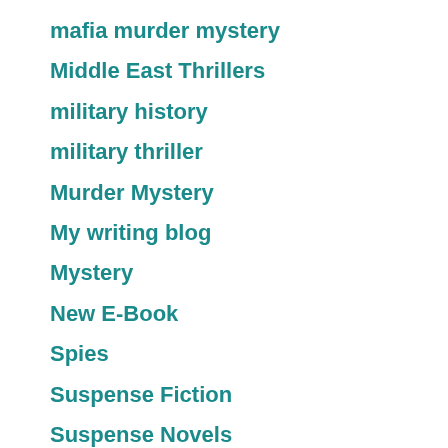mafia murder mystery
Middle East Thrillers
military history
military thriller
Murder Mystery
My writing blog
Mystery
New E-Book
Spies
Suspense Fiction
Suspense Novels